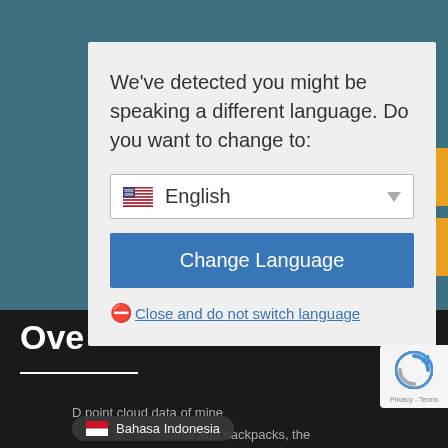[Figure (screenshot): Website background showing teal header area with orange navigation buttons on the right, black bottom section with 'Ove' text visible, and a language detection modal overlay in the center. A reCAPTCHA badge is visible at the bottom right, and a Bahasa Indonesia language pill is at the bottom.]
We've detected you might be speaking a different language. Do you want to change to:
English (dropdown selector with US flag)
Change Language
Close and do not switch language